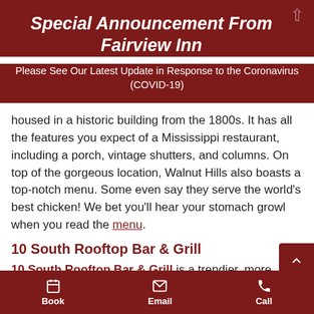Special Announcement From Fairview Inn
Please See Our Latest Update in Response to the Coronavirus (COVID-19)
housed in a historic building from the 1800s. It has all the features you expect of a Mississippi restaurant, including a porch, vintage shutters, and columns. On top of the gorgeous location, Walnut Hills also boasts a top-notch menu. Some even say they serve the world's best chicken! We bet you'll hear your stomach growl when you read the menu.
10 South Rooftop Bar & Grill
10 South Rooftop Bar & Grill is a trendier, more modern option in Vicksburg. Picture yourself with a cold beer, a s...
Book  Email  Call